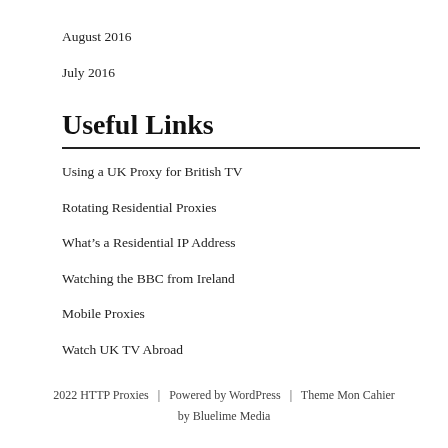August 2016
July 2016
Useful Links
Using a UK Proxy for British TV
Rotating Residential Proxies
What's a Residential IP Address
Watching the BBC from Ireland
Mobile Proxies
Watch UK TV Abroad
2022 HTTP Proxies  |  Powered by WordPress  |  Theme Mon Cahier by Bluelime Media